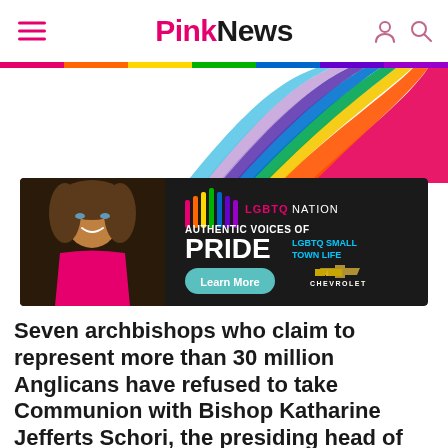PinkNews
[Figure (illustration): LGBTQ Nation 'Authentic Voices of Pride – LGBTQ Small Town Life' advertisement banner with Chevrolet sponsorship, featuring a Black woman with curly hair and colorful makeup, wearing a pink halter top, next to the LGBTQ Nation logo and a 'Learn More' button.]
Seven archbishops who claim to represent more than 30 million Anglicans have refused to take Communion with Bishop Katharine Jefferts Schori, the presiding head of the American Episcopal Church in protest of her support of gay clergy and unions.